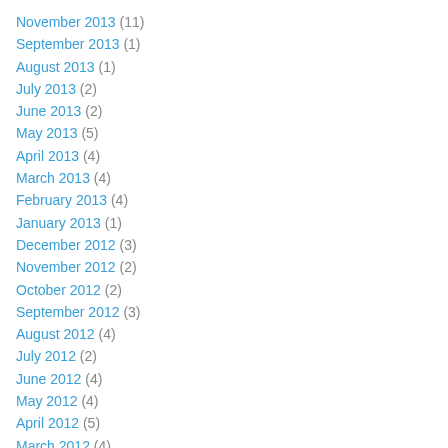November 2013 (11)
September 2013 (1)
August 2013 (1)
July 2013 (2)
June 2013 (2)
May 2013 (5)
April 2013 (4)
March 2013 (4)
February 2013 (4)
January 2013 (1)
December 2012 (3)
November 2012 (2)
October 2012 (2)
September 2012 (3)
August 2012 (4)
July 2012 (2)
June 2012 (4)
May 2012 (4)
April 2012 (5)
March 2012 (4)